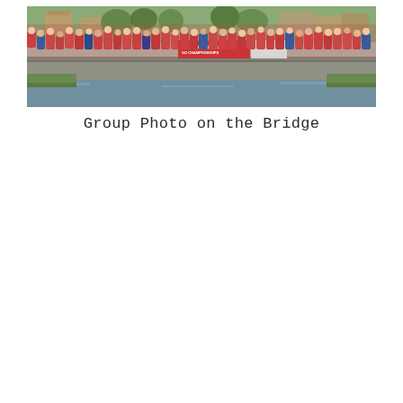[Figure (photo): Group photo on a bridge over a small river. A large crowd of people — mostly young participants in red jackets/shirts — stand on both sides of a bridge railing. A red banner reading '12th European Youth Go Championships' is visible. Trees and buildings are seen in the background. The river below reflects the scene.]
Group Photo on the Bridge